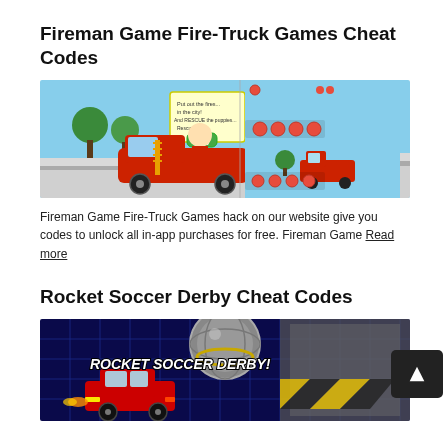Fireman Game Fire-Truck Games Cheat Codes
[Figure (screenshot): Screenshot of Fireman Game Fire-Truck Games showing a cartoon fire truck game with firefighter characters, a play button, and city scenes]
Fireman Game Fire-Truck Games hack on our website give you codes to unlock all in-app purchases for free. Fireman Game Read more
Rocket Soccer Derby Cheat Codes
[Figure (screenshot): Screenshot of Rocket Soccer Derby game showing a red car on a futuristic track with the game title text 'ROCKET SOCCER DERBY!']